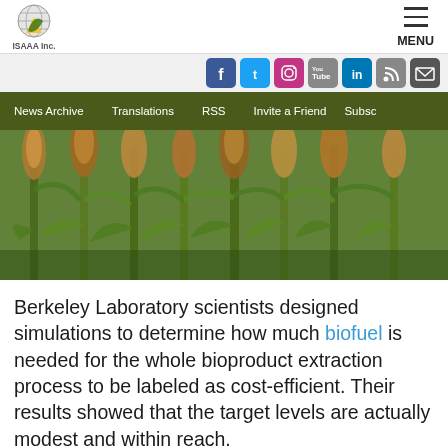ISAAA Inc. | MENU
[Figure (logo): ISAAA Inc. logo with globe and leaf icon]
[Figure (infographic): Social media icons bar: Facebook, Twitter, Instagram, YouTube, LinkedIn, RSS, Email]
News Archive | Translations | RSS | Invite a Friend | Subsc
[Figure (photo): Field of sorghum plants with golden seed heads, green stalks and leaves]
Berkeley Laboratory scientists designed simulations to determine how much biofuel is needed for the whole bioproduct extraction process to be labeled as cost-efficient. Their results showed that the target levels are actually modest and within reach.